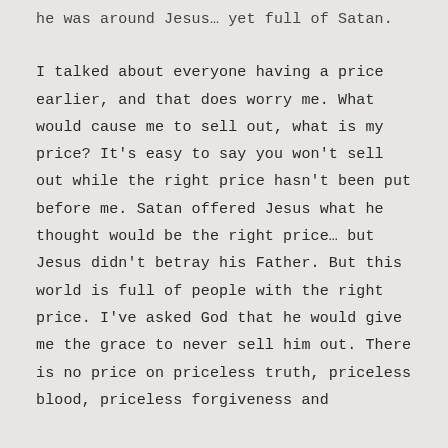he was around Jesus… yet full of Satan.
I talked about everyone having a price earlier, and that does worry me. What would cause me to sell out, what is my price? It's easy to say you won't sell out while the right price hasn't been put before me. Satan offered Jesus what he thought would be the right price… but Jesus didn't betray his Father. But this world is full of people with the right price. I've asked God that he would give me the grace to never sell him out. There is no price on priceless truth, priceless blood, priceless forgiveness and